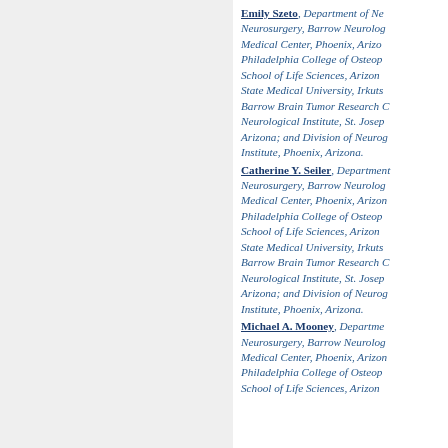Emily Szeto, Department of Neurosurgery, Barrow Neurological Medical Center, Phoenix, Arizona; Philadelphia College of Osteopathic School of Life Sciences, Arizona State Medical University, Irkutsk; Barrow Brain Tumor Research Center, Neurological Institute, St. Joseph, Arizona; and Division of Neurological Institute, Phoenix, Arizona.
Catherine Y. Seiler, Department of Neurosurgery, Barrow Neurological Medical Center, Phoenix, Arizona; Philadelphia College of Osteopathic School of Life Sciences, Arizona State Medical University, Irkutsk; Barrow Brain Tumor Research Center, Neurological Institute, St. Joseph, Arizona; and Division of Neurological Institute, Phoenix, Arizona.
Michael A. Mooney, Department of Neurosurgery, Barrow Neurological Medical Center, Phoenix, Arizona; Philadelphia College of Osteopathic School of Life Sciences, Arizona